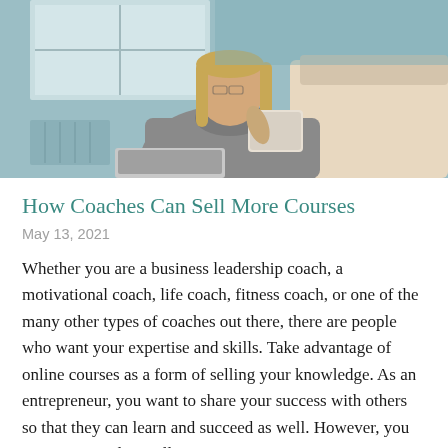[Figure (photo): A woman with blonde hair wearing a grey turtleneck sweater, sitting on a couch near a window, holding a tablet or book, with a laptop visible, in a home or office setting]
How Coaches Can Sell More Courses
May 13, 2021
Whether you are a business leadership coach, a motivational coach, life coach, fitness coach, or one of the many other types of coaches out there, there are people who want your expertise and skills. Take advantage of online courses as a form of selling your knowledge. As an entrepreneur, you want to share your success with others so that they can learn and succeed as well. However, you may run into dry spells